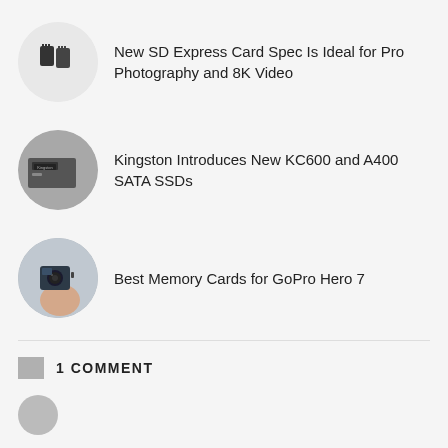New SD Express Card Spec Is Ideal for Pro Photography and 8K Video
Kingston Introduces New KC600 and A400 SATA SSDs
Best Memory Cards for GoPro Hero 7
1 COMMENT